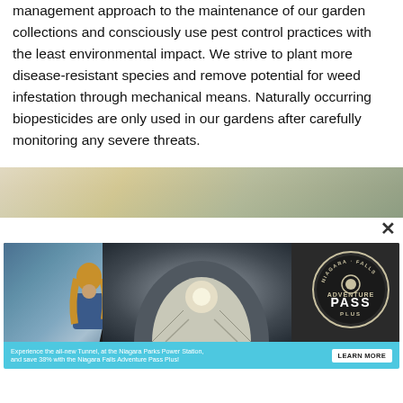management approach to the maintenance of our garden collections and consciously use pest control practices with the least environmental impact. We strive to plant more disease-resistant species and remove potential for weed infestation through mechanical means. Naturally occurring biopesticides are only used in our gardens after carefully monitoring any severe threats.
[Figure (photo): Partial view of a garden or outdoor scene, cut off at top of the visible area]
[Figure (photo): Advertisement for Niagara Falls Adventure Pass Plus featuring a tunnel at Niagara Parks Power Station, a woman looking at the waterfall, and a badge logo. Bottom bar reads: Experience the all-new Tunnel, at the Niagara Parks Power Station, and save 38% with the Niagara Falls Adventure Pass Plus! with a LEARN MORE button.]